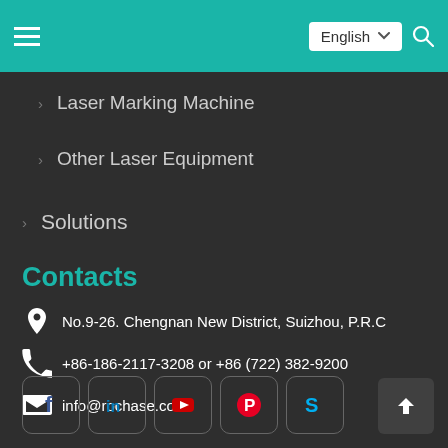English (navigation header with hamburger menu and search icon)
Laser Marking Machine
Other Laser Equipment
Solutions
Contacts
No.9-26. Chengnan New District, Suizhou, P.R.C
+86-186-2117-3208 or +86 (722) 382-9200
info@rochase.com
[Figure (infographic): Social media icons: Facebook, LinkedIn, YouTube, Pinterest, Skype]